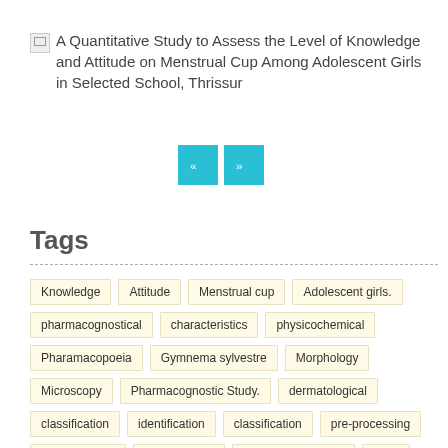A Quantitative Study to Assess the Level of Knowledge and Attitude on Menstrual Cup Among Adolescent Girls in Selected School, Thrissur
[Figure (other): Navigation buttons: previous (<<) and next (>>) in cyan/teal color]
Tags
Knowledge
Attitude
Menstrual cup
Adolescent girls.
pharmacognostical
characteristics
physicochemical
Pharamacopoeia
Gymnema sylvestre
Morphology
Microscopy
Pharmacognostic Study.
dermatological
classification
identification
classification
pre-processing
classifications
Skin Disease
k-Means clustering
SVM
KNN
Colour feature